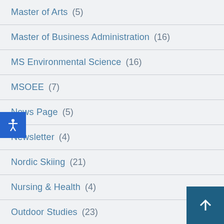Master of Arts (5)
Master of Business Administration (16)
MS Environmental Science (16)
MSOEE (7)
News Page (5)
Newsletter (4)
Nordic Skiing (21)
Nursing & Health (4)
Outdoor Studies (23)